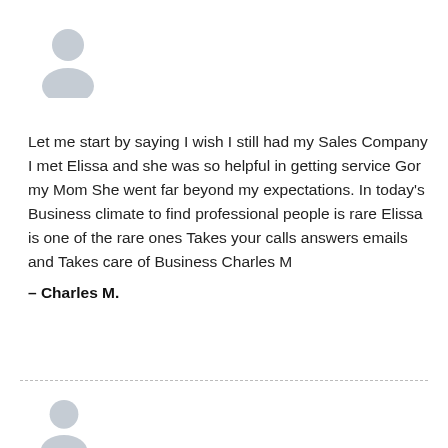[Figure (illustration): Generic user avatar icon (grey silhouette of a person head and shoulders) at top left]
Let me start by saying I wish I still had my Sales Company I met Elissa and she was so helpful in getting service Gor my Mom She went far beyond my expectations. In today’s Business climate to find professional people is rare Elissa is one of the rare ones Takes your calls answers emails and Takes care of Business Charles M
– Charles M.
[Figure (illustration): Generic user avatar icon (grey silhouette of a person head and shoulders) at bottom left]